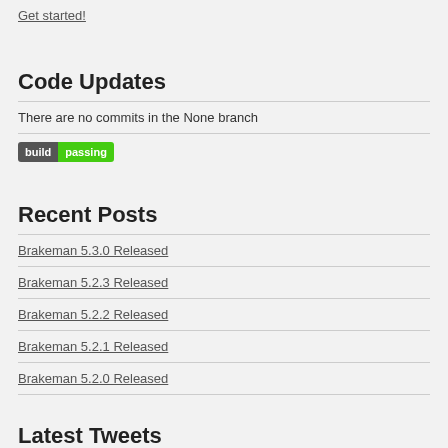Get started!
Code Updates
There are no commits in the None branch
[Figure (other): Build passing badge with dark gray 'build' label and green 'passing' label]
Recent Posts
Brakeman 5.3.0 Released
Brakeman 5.2.3 Released
Brakeman 5.2.2 Released
Brakeman 5.2.1 Released
Brakeman 5.2.0 Released
Latest Tweets
Tweets by @brakeman